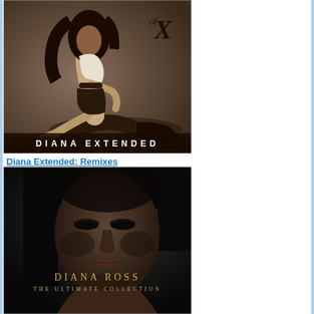[Figure (photo): Album cover for Diana Extended: Remixes showing a woman in a sepia-toned photo posing on the floor wearing a white top and dark clothing with the text DIANA EXTENDED and an X logo in the upper right]
Diana Extended: Remixes
[Figure (photo): Album cover for Diana Ross: The Ultimate Collection showing a close-up black and white photo of Diana Ross's face with gold text reading DIANA ROSS THE ULTIMATE COLLECTION at the bottom]